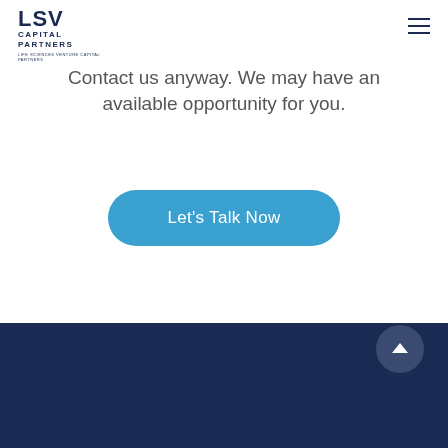[Figure (logo): LSV Capital Partners logo in dark navy blue, with tagline text below]
Contact us anyway. We may have an available opportunity for you.
[Figure (other): Blue rounded rectangle button labeled 'Let's Talk Now']
Dark navy footer section with back-to-top arrow button